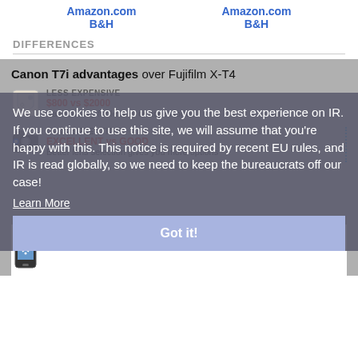Amazon.com
B&H
Amazon.com
B&H
DIFFERENCES
Canon T7i advantages over Fujifilm X-T4
We use cookies to help us give you the best experience on IR. If you continue to use this site, we will assume that you're happy with this. This notice is required by recent EU rules, and IR is read globally, so we need to keep the bureaucrats off our case!
LESS EXPENSIVE
$800 vs $2000
Save money for lenses or accessories
LENS SELECTION
EXCELLENT vs GOOD
Better lens selection gives you more options
Learn More
Got it!
NFC
YES vs NO